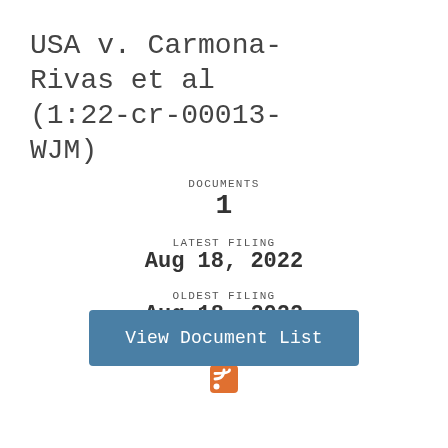USA v. Carmona-Rivas et al (1:22-cr-00013-WJM)
DOCUMENTS
1
LATEST FILING
Aug 18, 2022
OLDEST FILING
Aug 18, 2022
RSS
[Figure (other): RSS feed icon, orange square with white radio waves symbol]
View Document List